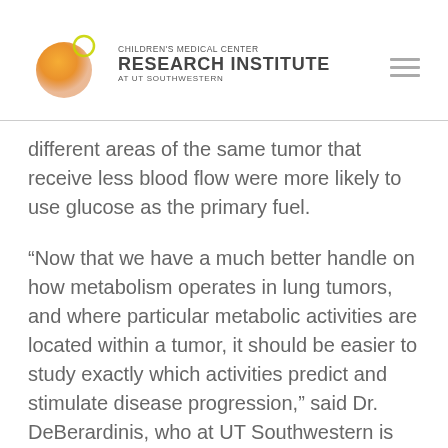[Figure (logo): Children's Medical Center Research Institute at UT Southwestern logo with orange sphere graphic]
different areas of the same tumor that receive less blood flow were more likely to use glucose as the primary fuel.
“Now that we have a much better handle on how metabolism operates in lung tumors, and where particular metabolic activities are located within a tumor, it should be easier to study exactly which activities predict and stimulate disease progression,” said Dr. DeBerardinis, who at UT Southwestern is also affiliated with the Eugene McDermott Center for Human Growth & Development, holds the Joel B. Steinberg, M.D. Chair in Pediatrics, and